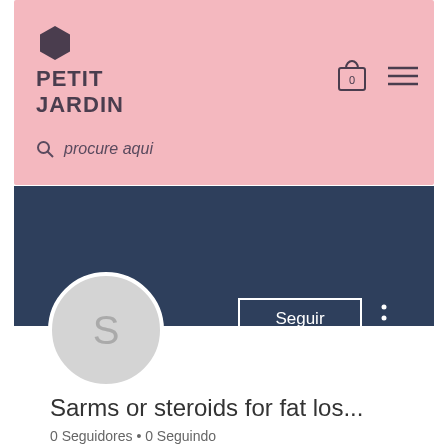[Figure (screenshot): Petit Jardin app/website header with pink background, hexagon logo icon, PETIT JARDIN brand name, shopping cart icon with 0, hamburger menu icon, and search bar with 'procure aqui' placeholder text]
[Figure (screenshot): Dark navy blue profile banner section with Seguir (Follow) button outlined in white and three-dot menu icon]
[Figure (illustration): Circular profile avatar with light grey background and the letter S in grey]
Sarms or steroids for fat los...
0 Seguidores • 0 Seguindo
[Figure (screenshot): Bottom section with a horizontal divider line and a chevron/arrow down icon on the right side]